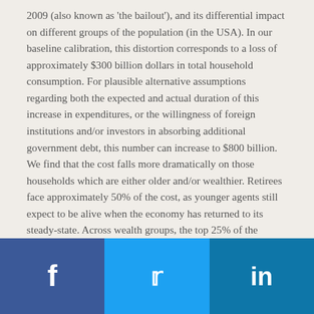2009 (also known as 'the bailout'), and its differential impact on different groups of the population (in the USA). In our baseline calibration, this distortion corresponds to a loss of approximately $300 billion dollars in total household consumption. For plausible alternative assumptions regarding both the expected and actual duration of this increase in expenditures, or the willingness of foreign institutions and/or investors in absorbing additional government debt, this number can increase to $800 billion. We find that the cost falls more dramatically on those households which are either older and/or wealthier. Retirees face approximately 50% of the cost, as younger agents still expect to be alive when the economy has returned to its steady-state. Across wealth groups, the top 25% of the wealth distribution bears almost two thirds of the cost.
[Figure (infographic): Social media sharing bar with Facebook (dark blue), Twitter (light blue), and LinkedIn (medium blue) buttons showing their respective icons.]